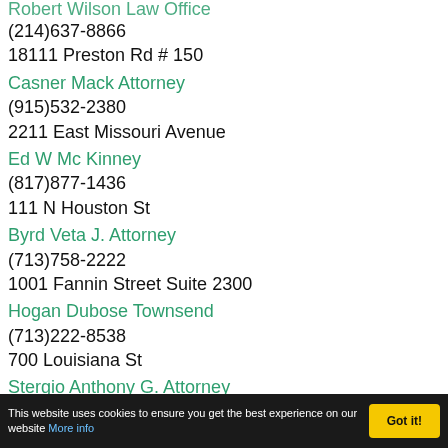(Robert Wilson Law Office — partial, cut off at top)
(214)637-8866
18111 Preston Rd # 150
Casner Mack Attorney
(915)532-2380
2211 East Missouri Avenue
Ed W Mc Kinney
(817)877-1436
111 N Houston St
Byrd Veta J. Attorney
(713)758-2222
1001 Fannin Street Suite 2300
Hogan Dubose Townsend
(713)222-8538
700 Louisiana St
Stergio Anthony G. Attorney (partial)
This website uses cookies to ensure you get the best experience on our website More info  Got it!